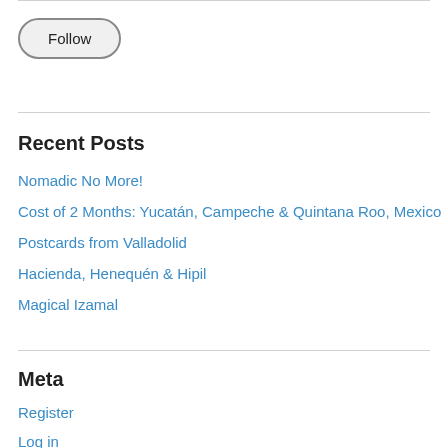[Figure (other): Follow button — rounded pill-shaped button with label 'Follow']
Recent Posts
Nomadic No More!
Cost of 2 Months: Yucatán, Campeche & Quintana Roo, Mexico
Postcards from Valladolid
Hacienda, Henequén & Hipil
Magical Izamal
Meta
Register
Log in
Entries feed
Comments feed